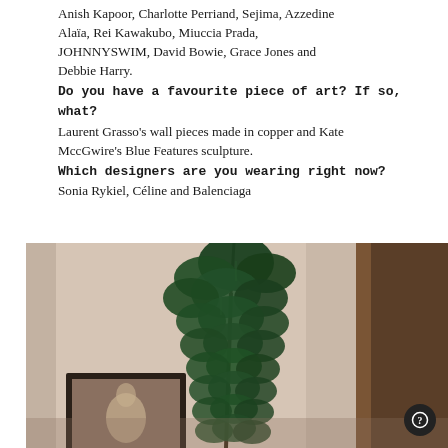Anish Kapoor, Charlotte Perriand, Sejima, Azzedine Alaïa, Rei Kawakubo, Miuccia Prada, JOHNNYSWIM, David Bowie, Grace Jones and Debbie Harry.
Do you have a favourite piece of art? If so, what?
Laurent Grasso's wall pieces made in copper and Kate MccGwire's Blue Features sculpture.
Which designers are you wearing right now?
Sonia Rykiel, Céline and Balenciaga
[Figure (photo): Interior photo showing a large leafy green plant (fiddle-leaf fig or similar) in front of a light wall, with a dark wooden frame visible on the right and a dark-framed picture/artwork on the left lower area. Warm, moody, slightly dark-toned photograph.]